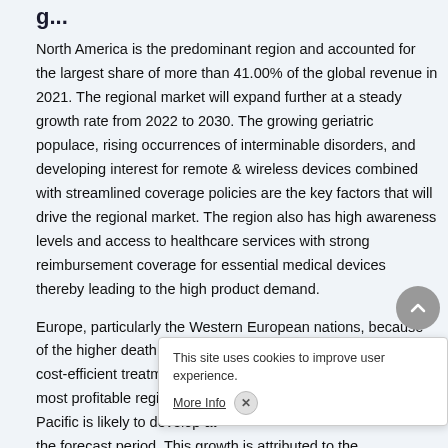g...
North America is the predominant region and accounted for the largest share of more than 41.00% of the global revenue in 2021. The regional market will expand further at a steady growth rate from 2022 to 2030. The growing geriatric populace, rising occurrences of interminable disorders, and developing interest for remote & wireless devices combined with streamlined coverage policies are the key factors that will drive the regional market. The region also has high awareness levels and access to healthcare services with strong reimbursement coverage for essential medical devices thereby leading to the high product demand.
Europe, particularly the Western European nations, because of the higher death rate and rising demand for cost-efficient treatment, is projected to be the most profitable region over the forecast period. Asia Pacific is likely to develop at... the forecast period. This growth is attributed to the...